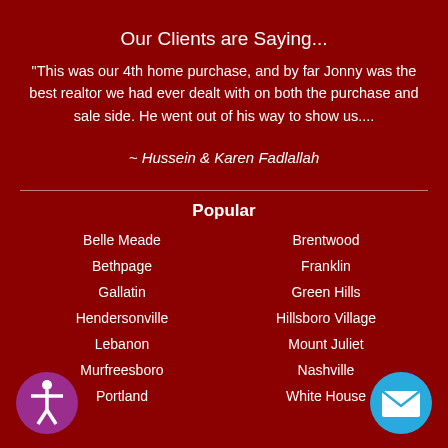Our Clients are Saying...
"This was our 4th home purchase, and by far Jonny was the best realtor we had ever dealt with on both the purchase and sale side. He went out of his way to show us....
~ Hussein & Karen Fadlallah
Popular
Belle Meade
Brentwood
Bethpage
Franklin
Gallatin
Green Hills
Hendersonville
Hillsboro Village
Lebanon
Mount Juliet
Murfreesboro
Nashville
Portland
White House